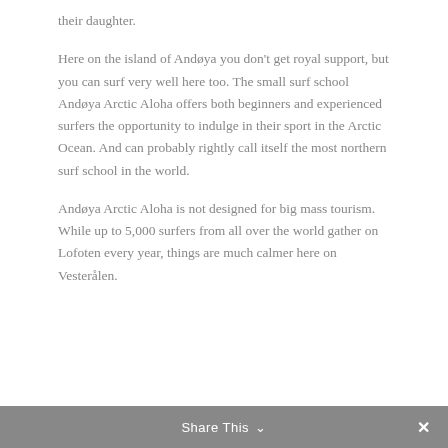their daughter.
Here on the island of Andøya you don't get royal support, but you can surf very well here too. The small surf school Andøya Arctic Aloha offers both beginners and experienced surfers the opportunity to indulge in their sport in the Arctic Ocean. And can probably rightly call itself the most northern surf school in the world.
Andøya Arctic Aloha is not designed for big mass tourism. While up to 5,000 surfers from all over the world gather on Lofoten every year, things are much calmer here on Vesterålen.
Share This ∨  ✕